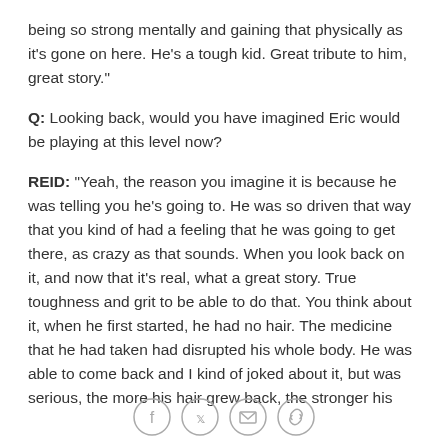being so strong mentally and gaining that physically as it's gone on here. He's a tough kid. Great tribute to him, great story."
Q: Looking back, would you have imagined Eric would be playing at this level now?
REID: "Yeah, the reason you imagine it is because he was telling you he's going to. He was so driven that way that you kind of had a feeling that he was going to get there, as crazy as that sounds. When you look back on it, and now that it's real, what a great story. True toughness and grit to be able to do that. You think about it, when he first started, he had no hair. The medicine that he had taken had disrupted his whole body. He was able to come back and I kind of joked about it, but was serious, the more his hair grew back, the stronger his
[Figure (other): Social media share icons: Facebook, Twitter, Email, Link]